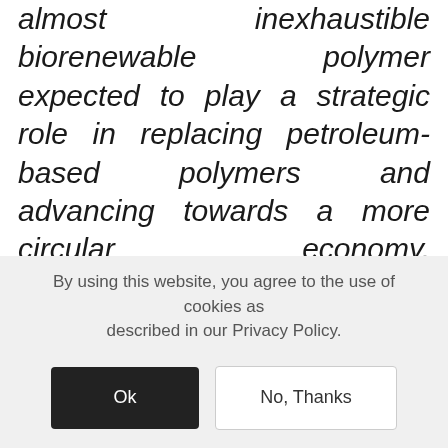almost inexhaustible biorenewable polymer expected to play a strategic role in replacing petroleum-based polymers and advancing towards a more circular economy. Nanocelluloses combine the properties of cellulose with the high surface area of nanomaterials. Increasing demand for cost-effective sustainable and high-performance materials makes nanocelluloses attractive for innovative applications in many sectors encompassing photonics, food, packaging
By using this website, you agree to the use of cookies as described in our Privacy Policy.